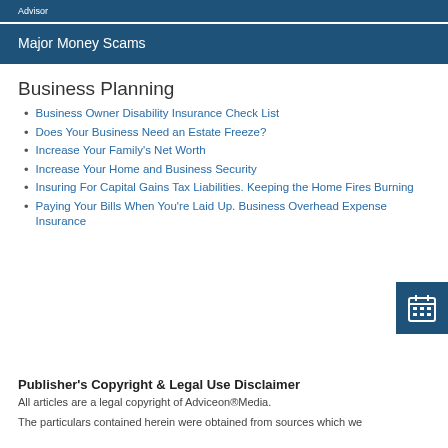Advisor
Major Money Scams
Business Planning
Business Owner Disability Insurance Check List
Does Your Business Need an Estate Freeze?
Increase Your Family's Net Worth
Increase Your Home and Business Security
Insuring For Capital Gains Tax Liabilities. Keeping the Home Fires Burning
Paying Your Bills When You're Laid Up. Business Overhead Expense Insurance
Publisher's Copyright & Legal Use Disclaimer
All articles are a legal copyright of Adviceon®Media.
The particulars contained herein were obtained from sources which we